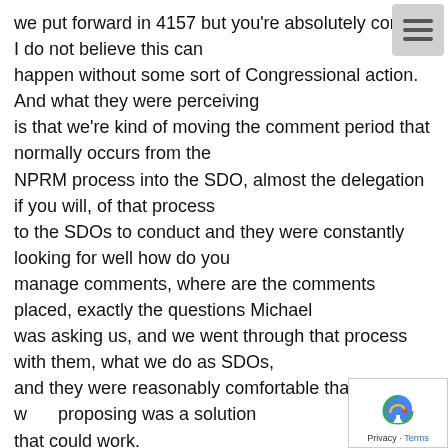we put forward in 4157 but you're absolutely correct, I do not believe this can happen without some sort of Congressional action. And what they were perceiving is that we're kind of moving the comment period that normally occurs from the NPRM process into the SDO, almost the delegation if you will, of that process to the SDOs to conduct and they were constantly looking for well how do you manage comments, where are the comments placed, exactly the questions Michael was asking us, and we went through that process with them, what we do as SDOs, and they were reasonably comfortable that what we were proposing was a solution that could work.